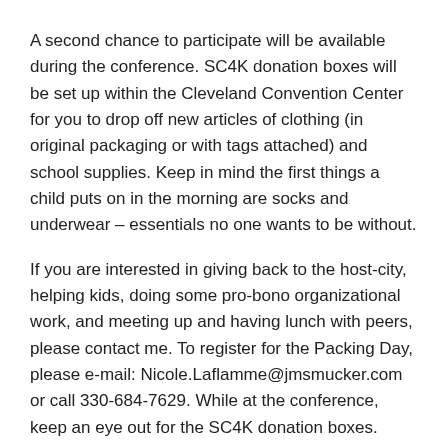A second chance to participate will be available during the conference. SC4K donation boxes will be set up within the Cleveland Convention Center for you to drop off new articles of clothing (in original packaging or with tags attached) and school supplies. Keep in mind the first things a child puts on in the morning are socks and underwear – essentials no one wants to be without.
If you are interested in giving back to the host-city, helping kids, doing some pro-bono organizational work, and meeting up and having lunch with peers, please contact me. To register for the Packing Day, please e-mail: Nicole.Laflamme@jmsmucker.com or call 330-684-7629. While at the conference, keep an eye out for the SC4K donation boxes.